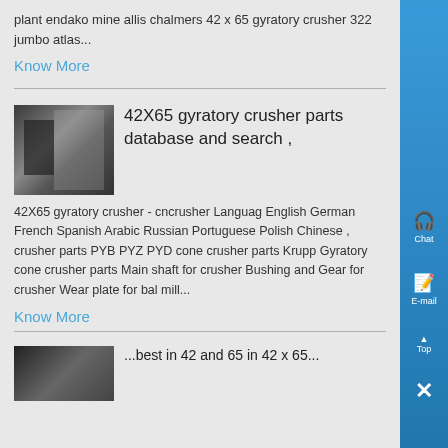plant endako mine allis chalmers 42 x 65 gyratory crusher 322 jumbo atlas...
Know More
42X65 gyratory crusher parts database and search ,
42X65 gyratory crusher - cncrusher Languag English German French Spanish Arabic Russian Portuguese Polish Chinese , crusher parts PYB PYZ PYD cone crusher parts Krupp Gyratory cone crusher parts Main shaft for crusher Bushing and Gear for crusher Wear plate for ball mill...
Know More
[Figure (photo): Industrial crusher machinery photo thumbnail]
[Figure (photo): Industrial machinery photo thumbnail at bottom]
...best in 42 and 65 in 42 x 65...